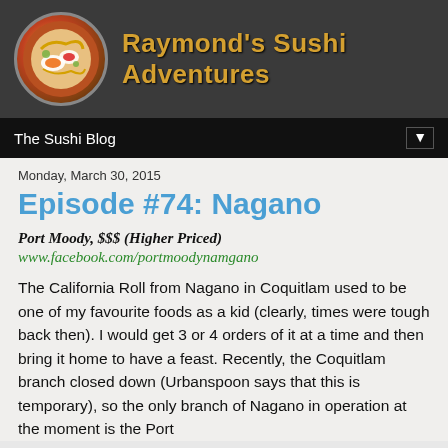[Figure (illustration): Circular sushi roll logo image with colorful sushi on dark background]
Raymond's Sushi Adventures
The Sushi Blog
Monday, March 30, 2015
Episode #74: Nagano
Port Moody, $$$ (Higher Priced)
www.facebook.com/portmoodynamgano
The California Roll from Nagano in Coquitlam used to be one of my favourite foods as a kid (clearly, times were tough back then). I would get 3 or 4 orders of it at a time and then bring it home to have a feast. Recently, the Coquitlam branch closed down (Urbanspoon says that this is temporary), so the only branch of Nagano in operation at the moment is the Port